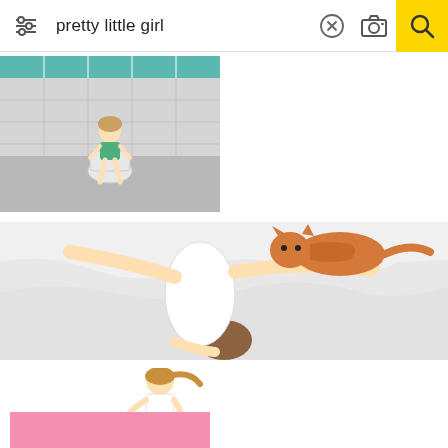[Figure (screenshot): Mobile image search interface showing search query 'pretty little girl' with filter icon, clear button, camera icon, and yellow search button]
[Figure (photo): Young girl in green top sitting on toilet in a gray tiled bathroom]
[Figure (photo): Overhead view of a woman in white lying on a white bed with an orange cat near her head]
[Figure (photo): Young girl in white top and patterned skirt crouching on white background]
[Figure (photo): Partial view of a pink background image at bottom of screen]